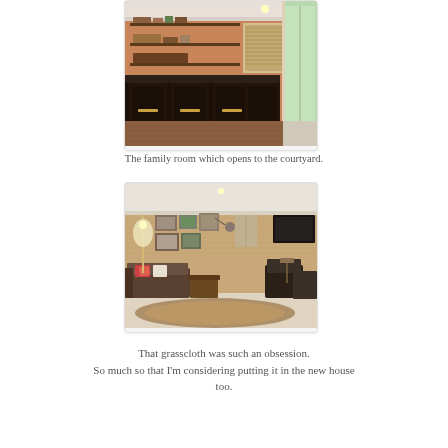[Figure (photo): Interior photo of a family room with dark cabinetry, open shelves with decorative items, a window with bamboo shade, and a sliding glass door opening to a courtyard.]
The family room which opens to the courtyard.
[Figure (photo): Interior photo of a living room with grasscloth wallcovering, leather and upholstered sofas, cowhide rug, artwork gallery wall, floor lamp, and a large flat-screen TV on the wall.]
That grasscloth was such an obsession. So much so that I'm considering putting it in the new house too.